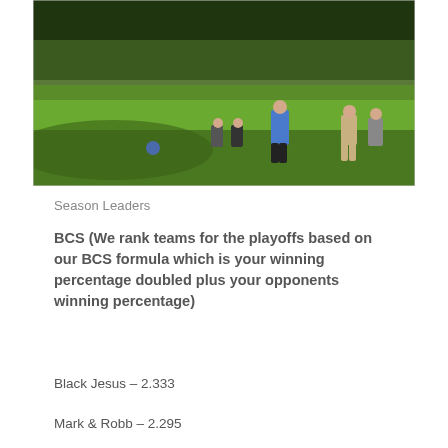[Figure (photo): People playing bocce ball on a green grass field surrounded by trees. One player in a blue shirt stands in the foreground, others are visible in the background.]
Season Leaders
BCS (We rank teams for the playoffs based on our BCS formula which is your winning percentage doubled plus your opponents winning percentage)
Black Jesus – 2.333
Mark & Robb – 2.295